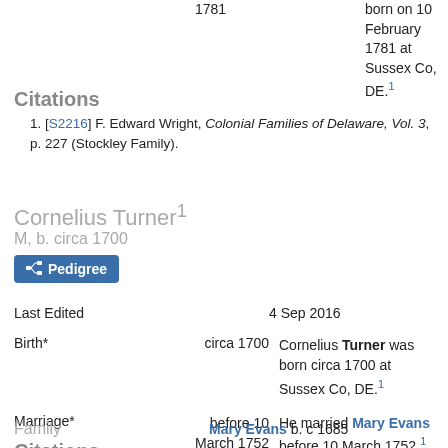1781  born on 10 February 1781 at Sussex Co, DE.1
Citations
1. [S2216] F. Edward Wright, Colonial Families of Delaware, Vol. 3, p. 227 (Stockley Family).
Cornelius Turner1
M, b. circa 1700
Pedigree
|  |  |  |
| --- | --- | --- |
| Last Edited |  | 4 Sep 2016 |
| Birth* | circa 1700 | Cornelius Turner was born circa 1700 at Sussex Co, DE.1 |
| Marriage* | before 10 March 1752 | He married Mary Evans before 10 March 1752.1 |
Family  Mary Evans b. c 1685
Citations